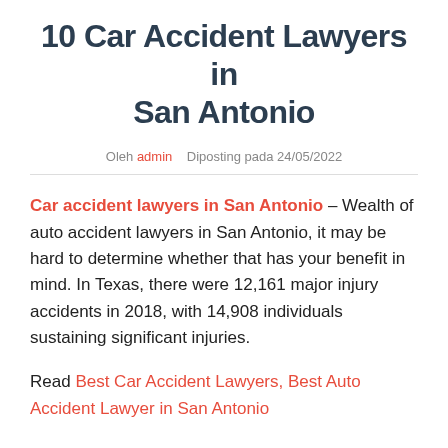10 Car Accident Lawyers in San Antonio
Oleh admin   Diposting pada 24/05/2022
Car accident lawyers in San Antonio – Wealth of auto accident lawyers in San Antonio, it may be hard to determine whether that has your benefit in mind. In Texas, there were 12,161 major injury accidents in 2018, with 14,908 individuals sustaining significant injuries.
Read Best Car Accident Lawyers, Best Auto Accident Lawyer in San Antonio